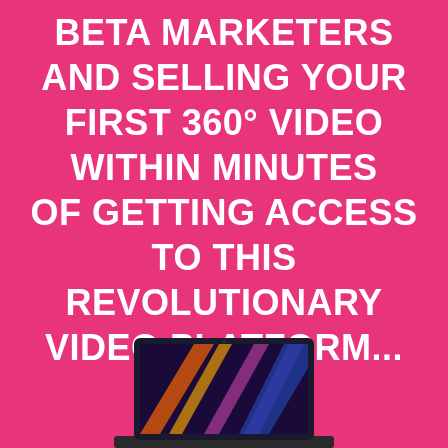BETA MARKETERS AND SELLING YOUR FIRST 360° VIDEO WITHIN MINUTES OF GETTING ACCESS TO THIS REVOLUTIONARY VIDEO PLATFORM...
[Figure (illustration): Partial view of a laptop computer showing a colorful screen with orange and purple diagonal streaks/lines, dark frame, visible at the bottom of the page.]